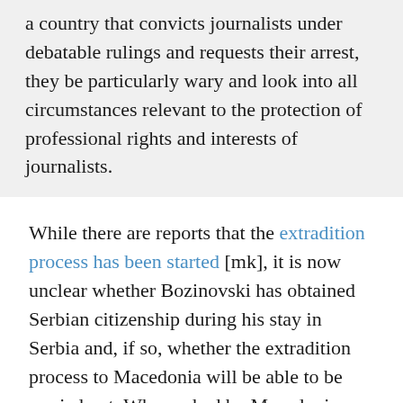a country that convicts journalists under debatable rulings and requests their arrest, they be particularly wary and look into all circumstances relevant to the protection of professional rights and interests of journalists.
While there are reports that the extradition process has been started [mk], it is now unclear whether Bozinovski has obtained Serbian citizenship during his stay in Serbia and, if so, whether the extradition process to Macedonia will be able to be carried out. When asked by Macedonian media, the Macedonian Ministry of Interior could neither deny nor confirm whether Bozinovski was also a Serbian national at this time.
Curiously, Bozinovski posted this photograph of himself in handcuffs on his Facebook profile on October 11, 2013, adding the note: